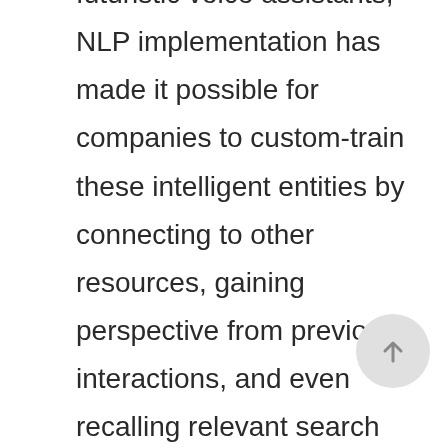futuristic voice assistants, NLP implementation has made it possible for companies to custom-train these intelligent entities by connecting to other resources, gaining perspective from previous interactions, and even recalling relevant search queries.

But intelligent chatbots have most of our attention moving into 2022, as they are behind the growth of proactive customer support systems and can be termed as the future of conversational AI. NLP-powered chatbots are capable of recognizing user intent from text and speech, which then allows companies to